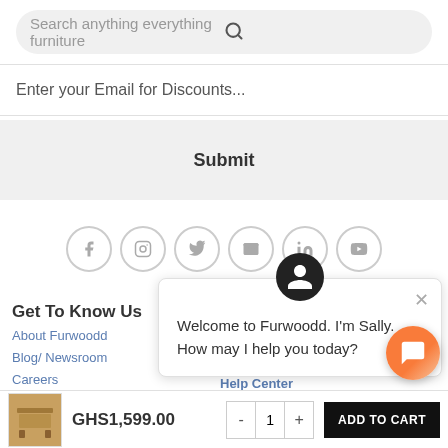Search anything everything furniture
Enter your Email for Discounts...
Submit
[Figure (infographic): Social media icons row: Facebook, Instagram, Twitter, Email, LinkedIn, YouTube — all circular outlined in light grey]
Get To Know Us
About Furwoodd
Blog/ Newsroom
Careers
Our Promise
Privacy Policy
Social Re...
Terms & C...
Welcome to Furwoodd. I'm Sally. How may I help you today?
Help Center
How to Buy on Furwoodd
My Orders
GHS1,599.00
1
ADD TO CART